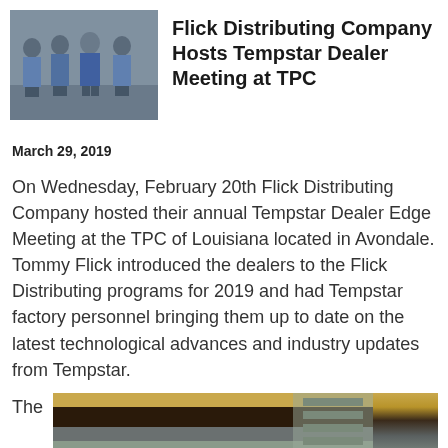[Figure (photo): Group photo of four men in blue work shirts standing together indoors]
Flick Distributing Company Hosts Tempstar Dealer Meeting at TPC
March 29, 2019
On Wednesday, February 20th Flick Distributing Company hosted their annual Tempstar Dealer Edge Meeting at the TPC of Louisiana located in Avondale.
Tommy Flick introduced the dealers to the Flick Distributing programs for 2019 and had Tempstar factory personnel bringing them up to date on the latest technological advances and industry updates from Tempstar.
The
[Figure (photo): Indoor photo showing people at what appears to be a conference or meeting room setting]